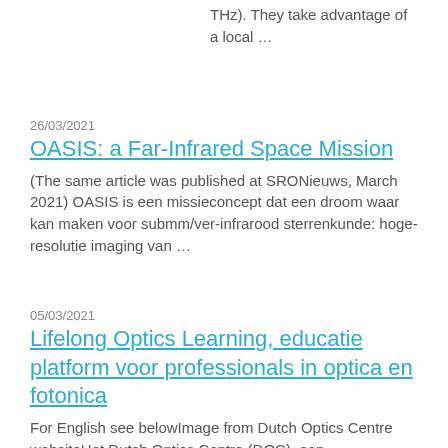THz). They take advantage of a local …
26/03/2021
OASIS: a Far-Infrared Space Mission
(The same article was published at SRONieuws, March 2021) OASIS is een missieconcept dat een droom waar kan maken voor submm/ver-infrarood sterrenkunde: hoge-resolutie imaging van …
05/03/2021
Lifelong Optics Learning, educatie platform voor professionals in optica en fotonica
For English see belowImage from Dutch Optics Centre websiteHet Dutch Optics Centre (DOC), een samenwerking tussen de